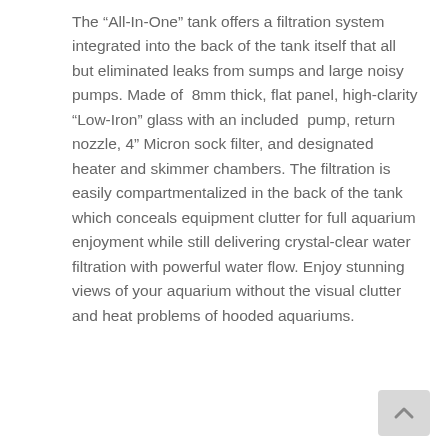The “All-In-One” tank offers a filtration system integrated into the back of the tank itself that all but eliminated leaks from sumps and large noisy pumps. Made of 8mm thick, flat panel, high-clarity “Low-Iron” glass with an included pump, return nozzle, 4” Micron sock filter, and designated heater and skimmer chambers. The filtration is easily compartmentalized in the back of the tank which conceals equipment clutter for full aquarium enjoyment while still delivering crystal-clear water filtration with powerful water flow. Enjoy stunning views of your aquarium without the visual clutter and heat problems of hooded aquariums.